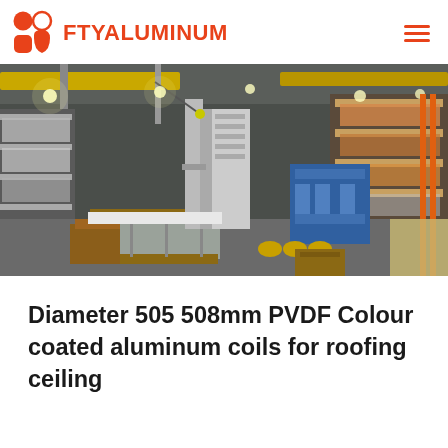FTYALUMINUM
[Figure (photo): Interior of a large industrial aluminum manufacturing warehouse facility, showing overhead yellow cranes, shelving racks with aluminum stock, pallets of flat aluminum sheets, and heavy processing machinery including a blue machine at center right. High-bay industrial lighting illuminates the space.]
Diameter 505 508mm PVDF Colour coated aluminum coils for roofing ceiling